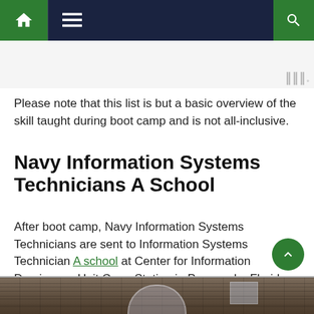Navigation bar with home, menu, and search icons
[Figure (other): Advertisement placeholder area with watermark icon (three vertical bars with superscript degree symbol)]
Please note that this list is but a basic overview of the skill taught during boot camp and is not all-inclusive.
Navy Information Systems Technicians A School
After boot camp, Navy Information Systems Technicians are sent to Information Systems Technician A school at Center for Information Dominance Unit Corry Station in Pensacola, Florida.
[Figure (photo): Partial photo of a brick building, likely Center for Information Dominance Unit Corry Station]